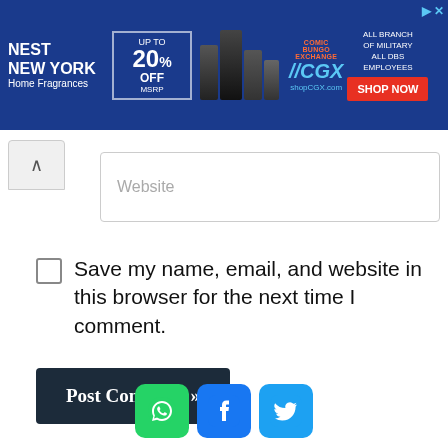[Figure (infographic): Advertisement banner for Nest New York Home Fragrances with CGX discount offer: UP TO 20% OFF MSRP. Blue background with product images and red SHOP NOW button.]
Website
Save my name, email, and website in this browser for the next time I comment.
Post Comment »
[Figure (infographic): Social sharing icons: WhatsApp (green), Facebook (blue), Twitter (light blue)]